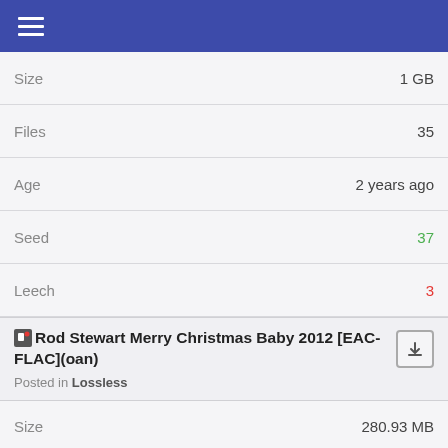≡ (navigation menu)
| Field | Value |
| --- | --- |
| Size | 1 GB |
| Files | 35 |
| Age | 2 years ago |
| Seed | 37 |
| Leech | 3 |
Rod Stewart Merry Christmas Baby 2012 [EAC-FLAC](oan)
Posted in Lossless
| Field | Value |
| --- | --- |
| Size | 280.93 MB |
| Files | 26 |
| Age | 3 years ago |
| Seed | 8 |
| Leech | 1 |
Rod Stewart - Merry Christmas, Baby - 'Deluxe Edition' - 320Kbps